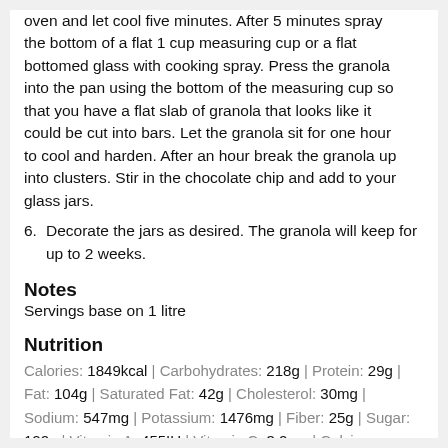oven and let cool five minutes. After 5 minutes spray the bottom of a flat 1 cup measuring cup or a flat bottomed glass with cooking spray. Press the granola into the pan using the bottom of the measuring cup so that you have a flat slab of granola that looks like it could be cut into bars. Let the granola sit for one hour to cool and harden. After an hour break the granola up into clusters. Stir in the chocolate chip and add to your glass jars.
6. Decorate the jars as desired. The granola will keep for up to 2 weeks.
Notes
Servings base on 1 litre
Nutrition
Calories: 1849kcal | Carbohydrates: 218g | Protein: 29g | Fat: 104g | Saturated Fat: 42g | Cholesterol: 30mg | Sodium: 547mg | Potassium: 1476mg | Fiber: 25g | Sugar: 122g | Vitamin A: 455IU | Vitamin C: 3.2mg | Calcium: 322mg | Iron: 9.3mg